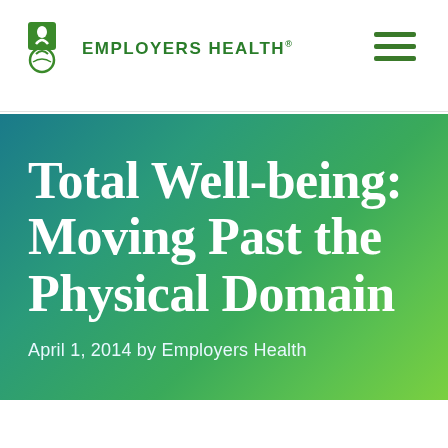Employers Health
Total Well-being: Moving Past the Physical Domain
April 1, 2014 by Employers Health